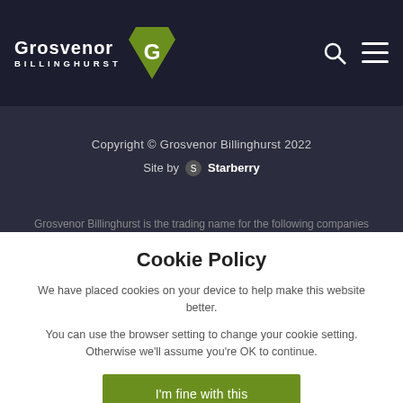Grosvenor Billinghurst
Copyright © Grosvenor Billinghurst 2022
Site by Starberry
Grosvenor Billinghurst is the trading name for the following companies registered in England with branches in Claygate, Cobham, Hinchley
Cookie Policy
We have placed cookies on your device to help make this website better.
You can use the browser setting to change your cookie setting. Otherwise we'll assume you're OK to continue.
I'm fine with this